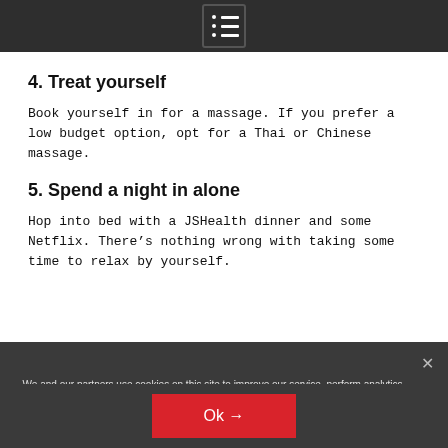4. Treat yourself
Book yourself in for a massage. If you prefer a low budget option, opt for a Thai or Chinese massage.
5. Spend a night in alone
Hop into bed with a JSHealth dinner and some Netflix. There’s nothing wrong with taking some time to relax by yourself.
We and our partners use cookies on this site to improve our service, perform analytics, personalize advertising, measure advertising performance, and remember website preferences.